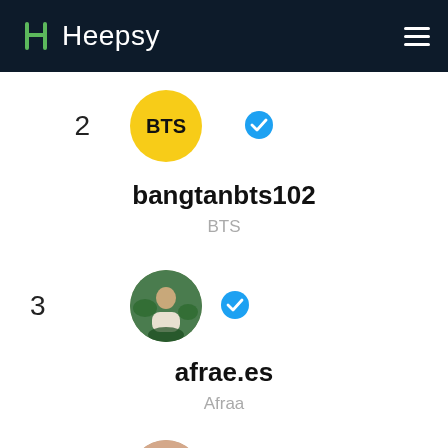Heepsy
2 bangtanbts102 BTS
3 afrae.es Afraa
4